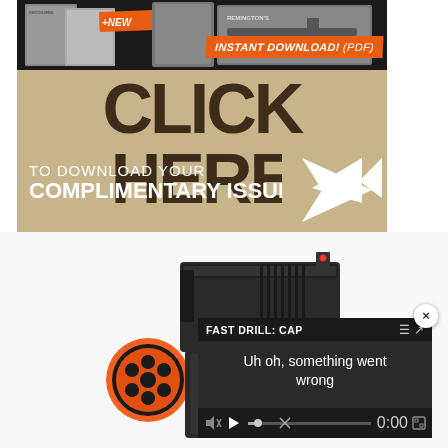[Figure (screenshot): Advertisement banner with tan/khaki background showing 'CLICK HERE TO DOWNLOAD YOUR COMPLIMENTARY ISSUE' with an orange 'INSTANT DOWNLOAD! (PDF)' badge, white arrow, and magazine cover images on black top strip]
[Figure (photo): Close-up photo of a black handgun barrel and front sight with red fiber optic bead, and an orange cylindrical suppressor or muzzle device on white background]
[Figure (screenshot): Video player overlay showing 'FAST DRILL: CAP' title and error message 'Uh oh, something went wrong' with playback controls showing 0:00 timestamp]
[Figure (other): Close button (X) circle in upper right of video overlay]